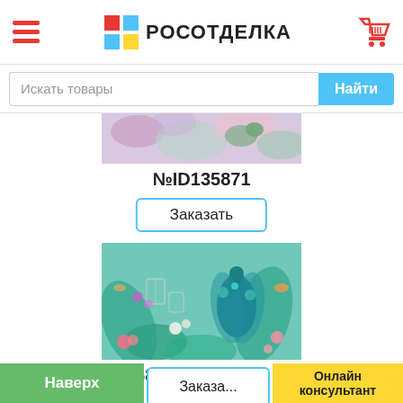РОСОТДЕЛКА
Искать товары
[Figure (photo): Partially visible floral/botanical wallpaper product image (top portion cut off)]
№ID135871
Заказать
[Figure (photo): Tropical wallpaper featuring a peacock among lush green tropical plants, flowers, and bird cages on a teal/mint background]
№ID135872
Заказать
Наверх  Онлайн консультант